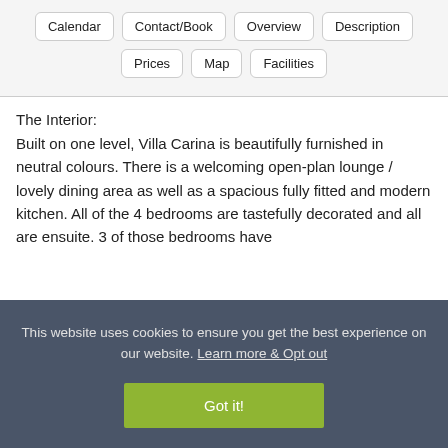Calendar
Contact/Book
Overview
Description
Prices
Map
Facilities
The Interior:
Built on one level, Villa Carina is beautifully furnished in neutral colours. There is a welcoming open-plan lounge / lovely dining area as well as a spacious fully fitted and modern kitchen. All of the 4 bedrooms are tastefully decorated and all are ensuite. 3 of those bedrooms have
This website uses cookies to ensure you get the best experience on our website. Learn more & Opt out
Got it!